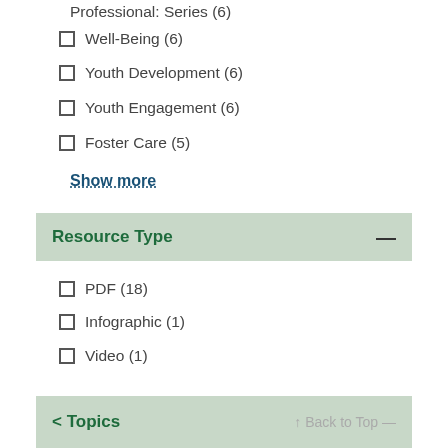Professional: Series (6)
Well-Being (6)
Youth Development (6)
Youth Engagement (6)
Foster Care (5)
Show more
Resource Type
PDF (18)
Infographic (1)
Video (1)
< Topics    ↑ Back to Top